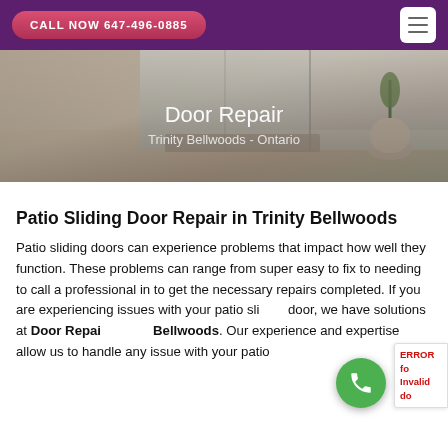CALL NOW 647-496-0885
[Figure (photo): Hero banner showing a patio sliding door area with a plant and glass door. Text overlay reads 'Door Repair' and 'Trinity Bellwoods - Ontario'.]
Door Repair
Trinity Bellwoods - Ontario
Patio Sliding Door Repair in Trinity Bellwoods
Patio sliding doors can experience problems that impact how well they function. These problems can range from super easy to fix to needing to call a professional in to get the necessary repairs completed. If you are experiencing issues with your patio sliding door, we have solutions at Door Repair Trinity Bellwoods. Our experience and expertise allow us to handle any issue with your patio